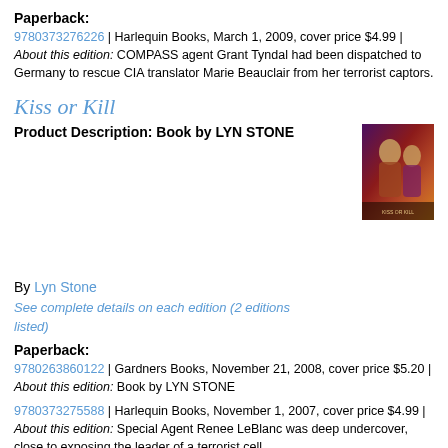Paperback:
9780373276226 | Harlequin Books, March 1, 2009, cover price $4.99 | About this edition: COMPASS agent Grant Tyndal had been dispatched to Germany to rescue CIA translator Marie Beauclair from her terrorist captors.
Kiss or Kill
Product Description: Book by LYN STONE
[Figure (photo): Book cover of Kiss or Kill by Lyn Stone, showing a dramatic romantic/action scene with dark purple and red tones]
By Lyn Stone
See complete details on each edition (2 editions listed)
Paperback:
9780263860122 | Gardners Books, November 21, 2008, cover price $5.20 | About this edition: Book by LYN STONE
9780373275588 | Harlequin Books, November 1, 2007, cover price $4.99 | About this edition: Special Agent Renee LeBlanc was deep undercover, close to exposing the leader of a terrorist cell.